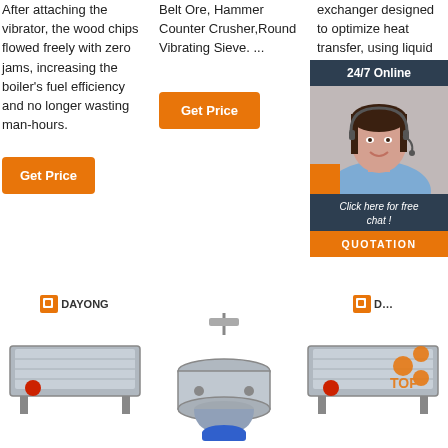After attaching the vibrator, the wood chips flowed freely with zero jams, increasing the boiler's fuel efficiency and no longer wasting man-hours.
[Figure (illustration): Orange 'Get Price' button (left column)]
Belt Ore, Hammer Counter Crusher,Round Vibrating Sieve. ...
[Figure (illustration): Orange 'Get Price' button (center column)]
exchanger designed to optimize heat transfer, using liquid nitrogen ...
»More detailed
[Figure (illustration): 24/7 Online chat widget with customer service representative photo, 'Click here for free chat!' text, and QUOTATION button]
[Figure (illustration): DAYONG logo and industrial vibrating screen machine (left)]
[Figure (illustration): DAYONG logo and industrial rotary vibrating sieve machine (center)]
[Figure (illustration): DAYONG logo and industrial vibrating screen machine with TOP orange watermark (right)]